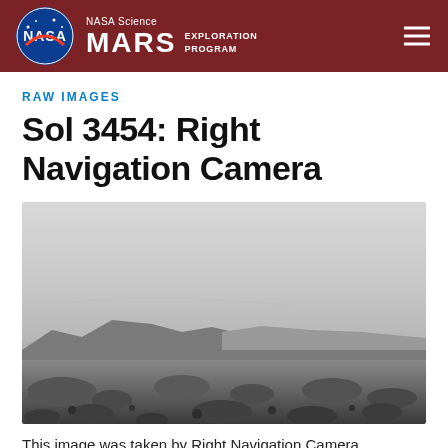NASA Science MARS EXPLORATION PROGRAM
RAW IMAGES
Sol 3454: Right Navigation Camera
[Figure (photo): Black and white photograph taken by the Mars Curiosity Rover's Right Navigation Camera on Sol 3454, showing a rocky Martian landscape with hills in the background and a hazy sky above.]
This image was taken by Right Navigation Camera